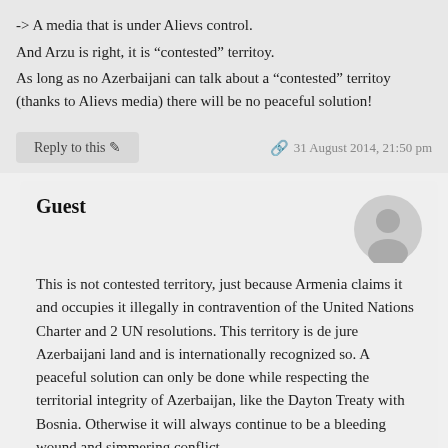-> A media that is under Alievs control.
And Arzu is right, it is “contested” territoy.
As long as no Azerbaijani can talk about a “contested” territoy (thanks to Alievs media) there will be no peaceful solution!
Reply to this ✎   🔗 31 August 2014, 21:50 pm
Guest
This is not contested territory, just because Armenia claims it and occupies it illegally in contravention of the United Nations Charter and 2 UN resolutions. This territory is de jure Azerbaijani land and is internationally recognized so. A peaceful solution can only be done while respecting the territorial integrity of Azerbaijan, like the Dayton Treaty with Bosnia. Otherwise it will always continue to be a bleeding wound and simmering conflict.